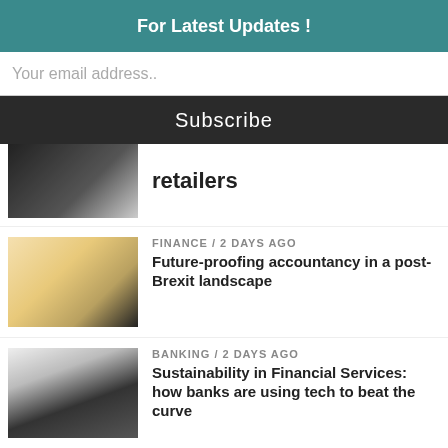For Latest Updates !
Your email address..
Subscribe
retailers
FINANCE / 2 days ago
Future-proofing accountancy in a post-Brexit landscape
BANKING / 2 days ago
Sustainability in Financial Services: how banks are using tech to beat the curve
BUSINESS / 2 days ago
Electronic trading landscape: how to gain a competitive edge